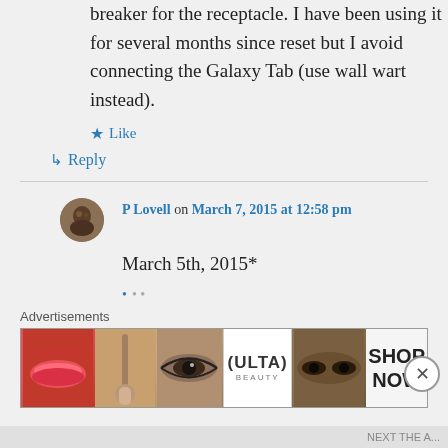breaker for the receptacle. I have been using it for several months since reset but I avoid connecting the Galaxy Tab (use wall wart instead).
★ Like
↳ Reply
P Lovell on March 7, 2015 at 12:58 pm
March 5th, 2015*
Advertisements
[Figure (screenshot): Ulta Beauty advertisement banner with cosmetics images showing lips, makeup brush, eye, Ulta logo, eye closeup, and SHOP NOW text]